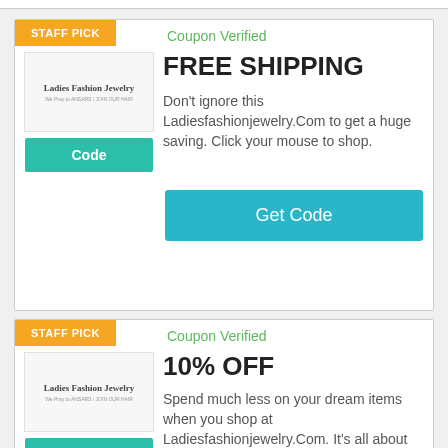[Figure (logo): Ladies Fashion Jewelry logo - top coupon card]
STAFF PICK
Coupon Verified
FREE SHIPPING
Don't ignore this Ladiesfashionjewelry.Com to get a huge saving. Click your mouse to shop.
Code
Get Code
[Figure (logo): Ladies Fashion Jewelry logo - bottom coupon card]
STAFF PICK
Coupon Verified
10% OFF
Spend much less on your dream items when you shop at Ladiesfashionjewelry.Com. It's all about you and what
Code